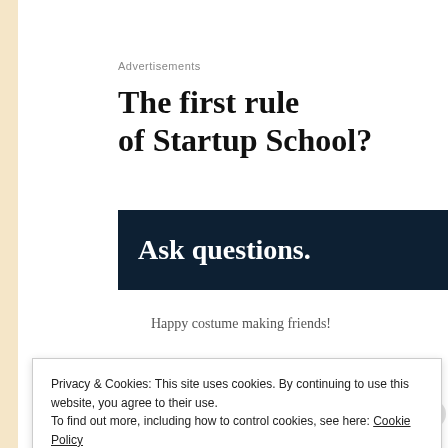Advertisements
The first rule of Startup School?
[Figure (other): Dark navy banner with bold white text reading 'Ask questions.']
Happy costume making friends!
Privacy & Cookies: This site uses cookies. By continuing to use this website, you agree to their use.
To find out more, including how to control cookies, see here: Cookie Policy
Close and accept